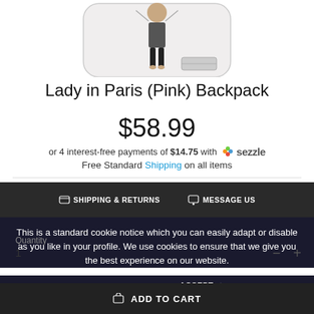[Figure (illustration): Partial product image of a Lady in Paris (Pink) Backpack showing illustrated figure of a woman in Paris at the top of the page]
Lady in Paris (Pink) Backpack
$58.99
or 4 interest-free payments of $14.75 with Sezzle
Free Standard Shipping on all items
SHIPPING & RETURNS   MESSAGE US
This is a standard cookie notice which you can easily adapt or disable as you like in your profile. We use cookies to ensure that we give you the best experience on our website.
Quantity
1
PRIVACY POLICY   ACCEPT ✓
ADD TO CART